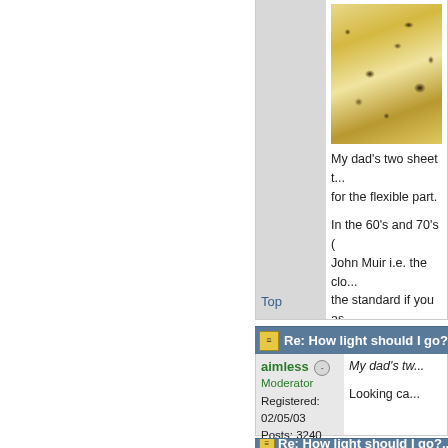[Figure (photo): Granite or stone texture close-up, showing yellow, brown and black speckled pattern]
My dad's two sheet t... for the flexible part.
In the 60's and 70's (... John Muir i.e. the clo... the standard if you as... poncho method once...
Top
Re: How light should I go? [Re...
aimless
Moderator
Registered: 02/05/03
Posts: 3240
Loc: Portland, OR
My dad's tw...
Looking ca...
Top
Re: How light should I go?...